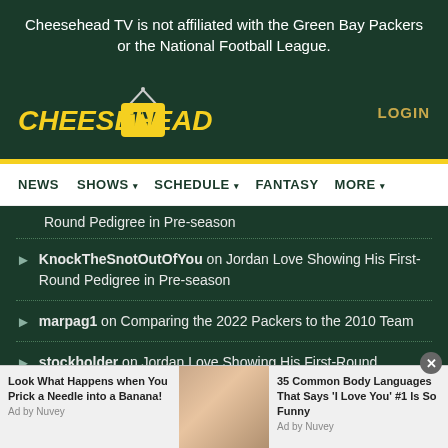Cheesehead TV is not affiliated with the Green Bay Packers or the National Football League.
[Figure (logo): Cheesehead TV logo with yellow italic text and TV box icon with antenna]
LOGIN
NEWS  SHOWS  SCHEDULE  FANTASY  MORE
Round Pedigree in Pre-season
KnockTheSnotOutOfYou on Jordan Love Showing His First-Round Pedigree in Pre-season
marpag1 on Comparing the 2022 Packers to the 2010 Team
stockholder on Jordan Love Showing His First-Round Pedigree in Pre-season
Look What Happens when You Prick a Needle into a Banana!  Ad by Nuvey
35 Common Body Languages That Says 'I Love You' #1 Is So Funny  Ad by Nuvey